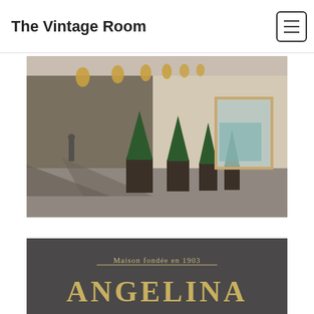The Vintage Room
[Figure (photo): Exterior arcade/colonnade of an elegant Parisian building with ornate brass lanterns and cone-shaped topiary boxwood plants in dark square planters along a stone facade, dappled sunlight on the pavement]
[Figure (photo): Sign reading 'Maison fondée en 1903' with a horizontal line and large gold text 'ANGELINA' on a dark grey/charcoal background]